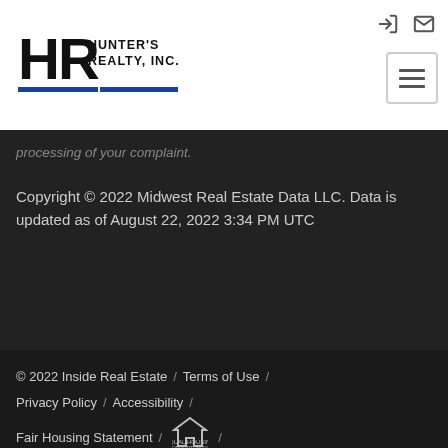[Figure (logo): Hunter's Realty, Inc. logo with HR monogram and blue underline bars]
processing of your complaint.
Copyright © 2022 Midwest Real Estate Data LLC. Data is updated as of August 22, 2022 3:34 PM UTC
© 2022 Inside Real Estate  /  Terms of Use  /  Privacy Policy  /  Accessibility  /  Fair Housing Statement  /  [Equal Housing Opportunity icon]  /  Select Language ▼